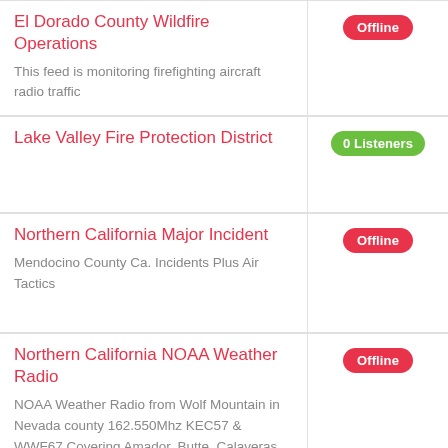El Dorado County Wildfire Operations
This feed is monitoring firefighting aircraft radio traffic
Offline
Lake Valley Fire Protection District
0 Listeners
Northern California Major Incident
Mendocino County Ca. Incidents Plus Air Tactics
Offline
Northern California NOAA Weather Radio
NOAA Weather Radio from Wolf Mountain in Nevada county 162.550Mhz KEC57 & WWF67 Covering Amador, Butte, Calaveras,
Offline